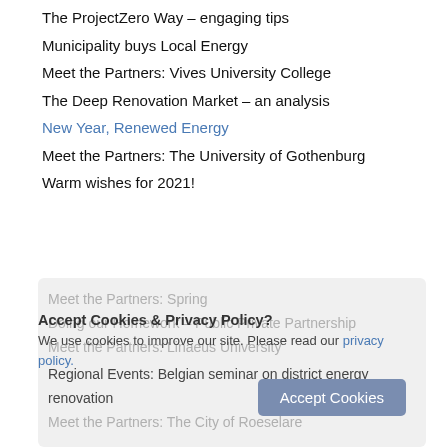The ProjectZero Way – engaging tips
Municipality buys Local Energy
Meet the Partners: Vives University College
The Deep Renovation Market – an analysis
New Year, Renewed Energy
Meet the Partners: The University of Gothenburg
Warm wishes for 2021!
Meet the Partners: Spring
Doing our Homework – Public Private Partnership
Meet the Partners: Linaeus University
Regional Events: Belgian seminar on district energy renovation
Meet the Partners: The City of Roeselare
Accept Cookies & Privacy Policy?
We use cookies to improve our site. Please read our privacy policy.
Noordenveld Neighbourhoods - Work in progress